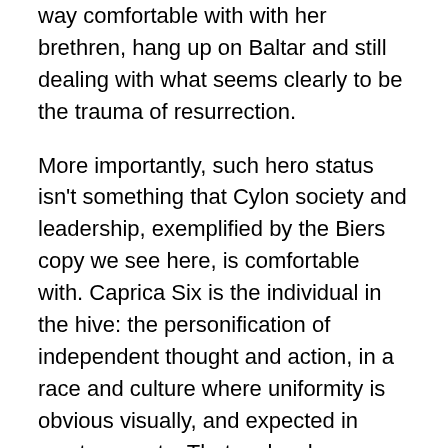way comfortable with with her brethren, hang up on Baltar and still dealing with what seems clearly to be the trauma of resurrection.
More importantly, such hero status isn't something that Cylon society and leadership, exemplified by the Biers copy we see here, is comfortable with. Caprica Six is the individual in the hive: the personification of independent thought and action, in a race and culture where uniformity is obvious visually, and expected in most respects. That makes her extremely dangerous to the minds seemingly running this collective – one problem with the episode, and future episodes, is that how the Cylons govern themselves is never made resolutely clear – who determine that she has to either be squashed back into the fold, or eliminated as a threat. Her time with humanity has left its mark, and now she wonders if she identifies more with the enemy